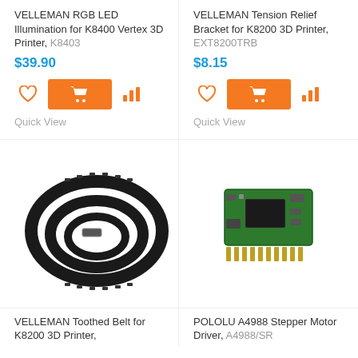VELLEMAN RGB LED Illumination for K8400 Vertex 3D Printer, K8403
$39.90
Quick View
VELLEMAN Tension Relief Bracket for K8200 3D Printer, EXT8200TRB
$8.15
Quick View
[Figure (photo): Toothed belt coiled in a loop, black rubber with teeth on inner edge]
[Figure (photo): Green electronic stepper motor driver circuit board with pins]
VELLEMAN Toothed Belt for K8200 3D Printer,
POLOLU A4988 Stepper Motor Driver, A4988/SR